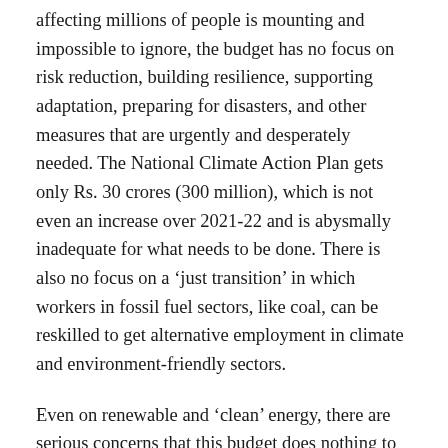affecting millions of people is mounting and impossible to ignore, the budget has no focus on risk reduction, building resilience, supporting adaptation, preparing for disasters, and other measures that are urgently and desperately needed. The National Climate Action Plan gets only Rs. 30 crores (300 million), which is not even an increase over 2021-22 and is abysmally inadequate for what needs to be done. There is also no focus on a ‘just transition’ in which workers in fossil fuel sectors, like coal, can be reskilled to get alternative employment in climate and environment-friendly sectors.
Even on renewable and ‘clean’ energy, there are serious concerns that this budget does nothing to assuage. India’s goal to have 50% of its total energy production by non-fossil fuels or clean energy by 2030, one of Prime Minister Modi’s five commitments at Glasgow, is heavily dependent on